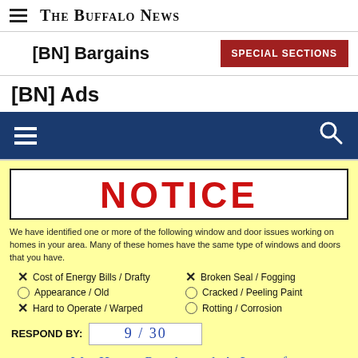The Buffalo News
[BN] Bargains
[BN] Ads
[Figure (screenshot): Blue navigation bar with hamburger menu icon on left and search icon on right]
[Figure (infographic): Yellow notice advertisement: NOTICE box in red, checklist of window/door issues with X marks, respond by date 9/30, and handwritten text 'We Have Replaced A Lot Of']